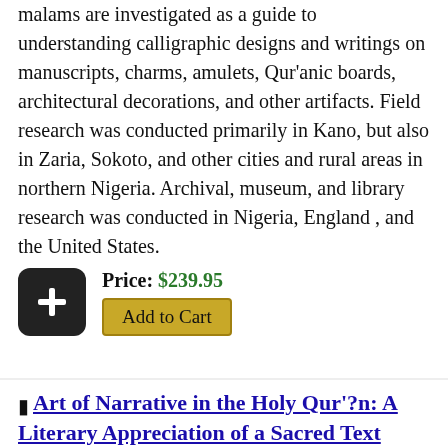malams are investigated as a guide to understanding calligraphic designs and writings on manuscripts, charms, amulets, Qur'anic boards, architectural decorations, and other artifacts. Field research was conducted primarily in Kano, but also in Zaria, Sokoto, and other cities and rural areas in northern Nigeria. Archival, museum, and library research was conducted in Nigeria, England , and the United States.
Price: $239.95
Add to Cart
Art of Narrative in the Holy Qur'?n: A Literary Appreciation of a Sacred Text